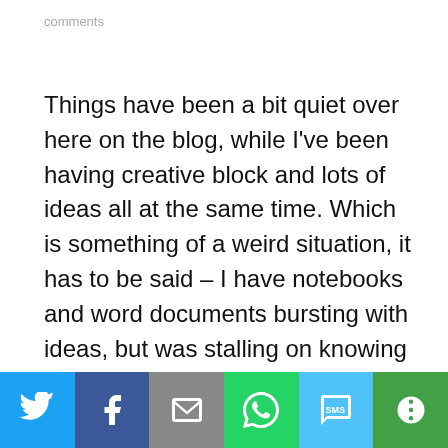comments
Things have been a bit quiet over here on the blog, while I've been having creative block and lots of ideas all at the same time. Which is something of a weird situation, it has to be said – I have notebooks and word documents bursting with ideas, but was stalling on knowing what to do with them.
[Figure (infographic): Social share bar with icons for Twitter, Facebook, Email, WhatsApp, SMS, and More]